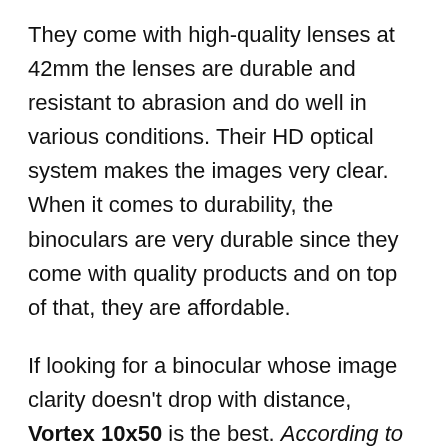They come with high-quality lenses at 42mm the lenses are durable and resistant to abrasion and do well in various conditions. Their HD optical system makes the images very clear. When it comes to durability, the binoculars are very durable since they come with quality products and on top of that, they are affordable.
If looking for a binocular whose image clarity doesn't drop with distance, Vortex 10x50 is the best. According to vortex diamondback 10x50 reviews, the Image